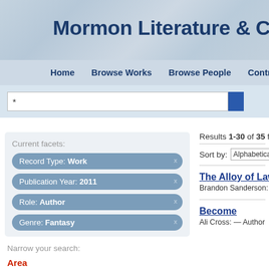Mormon Literature & Creativ
Home   Browse Works   Browse People   Contribute   Ab
*
Current facets:
Record Type: Work  x
Publication Year: 2011  x
Role: Author  x
Genre: Fantasy  x
Narrow your search:
Area
Literature (35)
Results 1-30 of 35 for: *
Sort by: Alphabetical
The Alloy of Law
Brandon Sanderson: — Autho
Become
Ali Cross: — Author